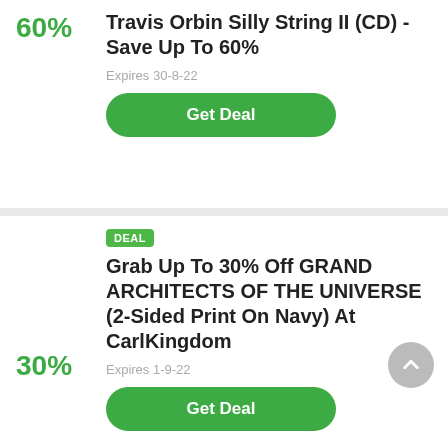60%
Travis Orbin Silly String II (CD) - Save Up To 60%
Expires 30-8-22
Get Deal
DEAL
30%
Grab Up To 30% Off GRAND ARCHITECTS OF THE UNIVERSE (2-Sided Print On Navy) At CarlKingdom
Expires 1-9-22
Get Deal